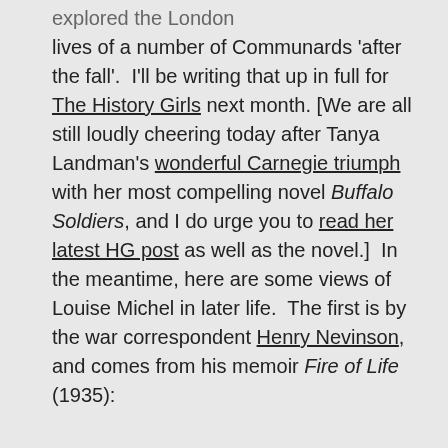explored the London lives of a number of Communards 'after the fall'.  I'll be writing that up in full for The History Girls next month. [We are all still loudly cheering today after Tanya Landman's wonderful Carnegie triumph with her most compelling novel Buffalo Soldiers, and I do urge you to read her latest HG post as well as the novel.]  In the meantime, here are some views of Louise Michel in later life.  The first is by the war correspondent Henry Nevinson, and comes from his memoir Fire of Life (1935):
'"The Red Virgin" was conspicuous at nearly all the [Anarchist] meetings – conspicuous in ancient black, always worn to commemorate her fellow Communards pitilessly slaughtered in Paris (1871) to glut the bloodthirsty of the bourgeoisie, who, crowding around the slaughter-house with jeers and laughter, stood to witness the executions in mass.  Old black bonnet, shaped like the Salvation Army bonnet and flung anyhow on top of the wild